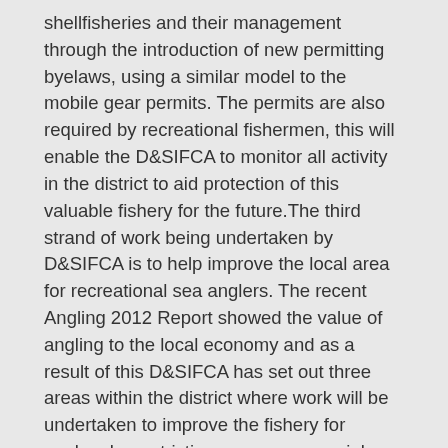shellfisheries and their management through the introduction of new permitting byelaws, using a similar model to the mobile gear permits. The permits are also required by recreational fishermen, this will enable the D&SIFCA to monitor all activity in the district to aid protection of this valuable fishery for the future.The third strand of work being undertaken by D&SIFCA is to help improve the local area for recreational sea anglers. The recent Angling 2012 Report showed the value of angling to the local economy and as a result of this D&SIFCA has set out three areas within the district where work will be undertaken to improve the fishery for anglers by restricting some commercial activity.
See: http://www.devonandsevernifca.gov.uk/